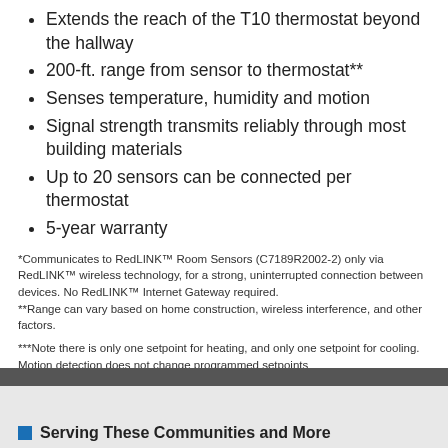Extends the reach of the T10 thermostat beyond the hallway
200-ft. range from sensor to thermostat**
Senses temperature, humidity and motion
Signal strength transmits reliably through most building materials
Up to 20 sensors can be connected per thermostat
5-year warranty
*Communicates to RedLINK™ Room Sensors (C7189R2002-2) only via RedLINK™ wireless technology, for a strong, uninterrupted connection between devices. No RedLINK™ Internet Gateway required.
**Range can vary based on home construction, wireless interference, and other factors.
***Note there is only one setpoint for heating, and only one setpoint for cooling. Motion detection does not change programmed setpoints
Serving These Communities and More